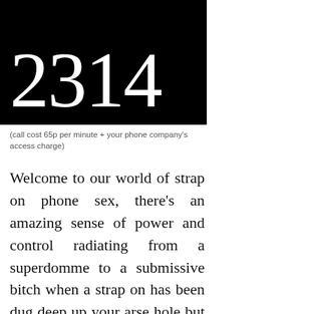2314
(call cost 65p per minute + your phone company's access charge)
Welcome to our world of strap on phone sex, there’s an amazing sense of power and control radiating from a superdomme to a submissive bitch when a strap on has been dug deep up your arse hole but you subbies adore it, which is why you pathetic weak bitches must pick up your phone and call our strap on sex chat mistresses, where for just 35p per